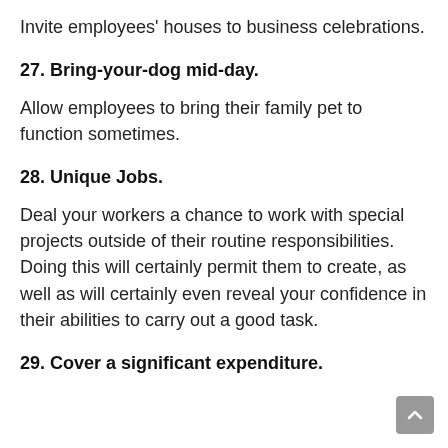Invite employees' houses to business celebrations.
27. Bring-your-dog mid-day.
Allow employees to bring their family pet to function sometimes.
28. Unique Jobs.
Deal your workers a chance to work with special projects outside of their routine responsibilities. Doing this will certainly permit them to create, as well as will certainly even reveal your confidence in their abilities to carry out a good task.
29. Cover a significant expenditure.